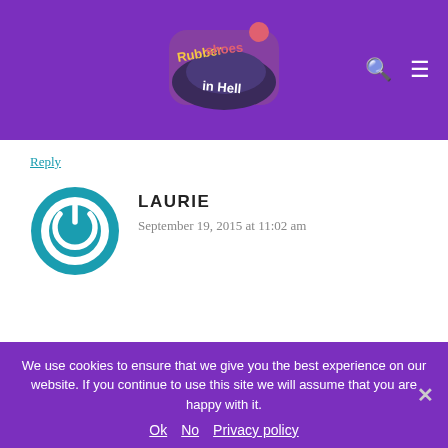Rubbershoes in Hell — site header with logo, search icon, and menu icon
Reply
[Figure (illustration): Blue circular avatar icon with a power/on symbol in the center, representing user 'Laurie']
LAURIE
September 19, 2015 at 11:02 am
The committee in our head can be ruthless, cruel and distracting. I'm in the same boat...the rapid fire ricocheting cerebral dance is exhausting...but it's ours so we must suit up
We use cookies to ensure that we give you the best experience on our website. If you continue to use this site we will assume that you are happy with it.
Ok · No · Privacy policy